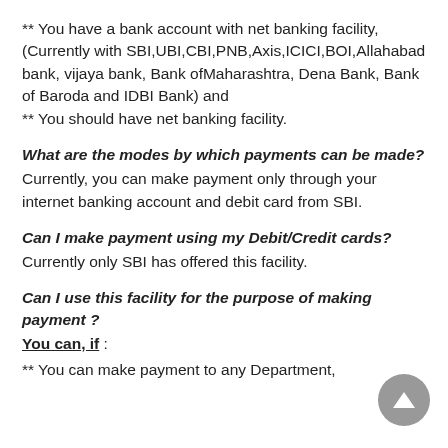** You have a bank account with net banking facility, (Currently with SBI,UBI,CBI,PNB,Axis,ICICI,BOI,Allahabad bank, vijaya bank, Bank ofMaharashtra, Dena Bank, Bank of Baroda and IDBI Bank) and
** You should have net banking facility.
What are the modes by which payments can be made?
Currently, you can make payment only through your internet banking account and debit card from SBI.
Can I make payment using my Debit/Credit cards?
Currently only SBI has offered this facility.
Can I use this facility for the purpose of making payment ?
You can, if :
** You can make payment to any Department,